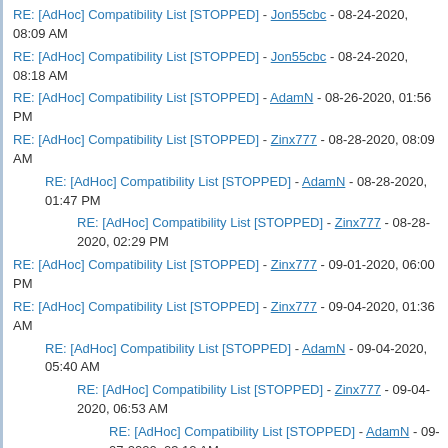RE: [AdHoc] Compatibility List [STOPPED] - Jon55cbc - 08-24-2020, 08:09 AM
RE: [AdHoc] Compatibility List [STOPPED] - Jon55cbc - 08-24-2020, 08:18 AM
RE: [AdHoc] Compatibility List [STOPPED] - AdamN - 08-26-2020, 01:56 PM
RE: [AdHoc] Compatibility List [STOPPED] - Zinx777 - 08-28-2020, 08:09 AM
RE: [AdHoc] Compatibility List [STOPPED] - AdamN - 08-28-2020, 01:47 PM
RE: [AdHoc] Compatibility List [STOPPED] - Zinx777 - 08-28-2020, 02:29 PM
RE: [AdHoc] Compatibility List [STOPPED] - Zinx777 - 09-01-2020, 06:00 PM
RE: [AdHoc] Compatibility List [STOPPED] - Zinx777 - 09-04-2020, 01:36 AM
RE: [AdHoc] Compatibility List [STOPPED] - AdamN - 09-04-2020, 05:40 AM
RE: [AdHoc] Compatibility List [STOPPED] - Zinx777 - 09-04-2020, 06:53 AM
RE: [AdHoc] Compatibility List [STOPPED] - AdamN - 09-07-2020, 03:12 AM
RE: [AdHoc] Compatibility List [STOPPED] - AdamN - 09-04-2020, 08:11 AM
RE: [AdHoc] Compatibility List [STOPPED] - ...